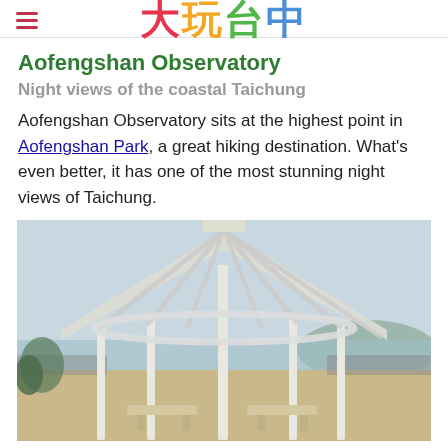大玩台中
Aofengshan Observatory
Night views of the coastal Taichung
Aofengshan Observatory sits at the highest point in Aofengshan Park, a great hiking destination. What's even better, it has one of the most stunning night views of Taichung.
[Figure (photo): White wooden pavilion/gazebo structure at Aofengshan Observatory with open-air lattice roof, wooden benches, overlooking coastal Taichung with water and hills in the background under a hazy sky.]